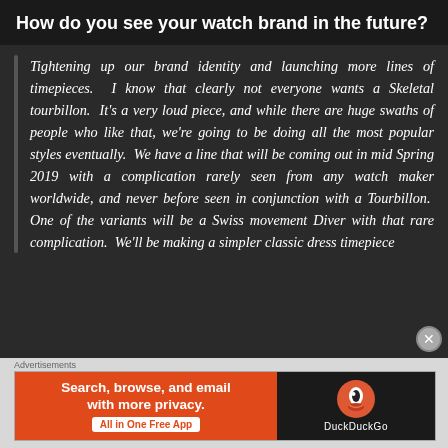How do you see your watch brand in the future?
Tightening up our brand identity and launching more lines of timepieces. I know that clearly not everyone wants a Skeletal tourbillon. It's a very loud piece, and while there are huge swaths of people who like that, we're going to be doing all the most popular styles eventually. We have a line that will be coming out in mid Spring 2019 with a complication rarely seen from any watch maker worldwide, and never before seen in conjunction with a Tourbillon. One of the variants will be a Swiss movement Diver with that rare complication. We'll be making a simpler classic dress timepiece
[Figure (screenshot): DuckDuckGo advertisement banner with orange background on left reading 'Search, browse, and email with more privacy. All in One Free App' and dark background on right with DuckDuckGo logo]